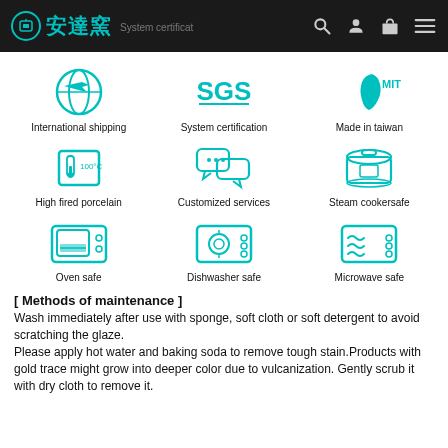安達窯 System certification
[Figure (infographic): 3x3 grid of teal icons with labels: International shipping, System certification, Made in taiwan, High fired porcelain, Customized services, Steam cookersafe, Oven safe, Dishwasher safe, Microwave safe]
[ Methods of maintenance ]
Wash immediately after use with sponge, soft cloth or soft detergent to avoid scratching the glaze. Please apply hot water and baking soda to remove tough stain.Products with gold trace might grow into deeper color due to vulcanization. Gently scrub it with dry cloth to remove it.